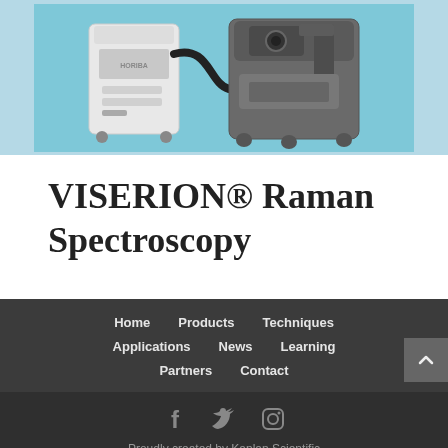[Figure (photo): Photo of VISERION Raman Spectroscopy instrument — a white medical/scientific cabinet on wheels connected by a cable to a larger grey/metallic microscope unit, photographed against a blue background.]
VISERION® Raman Spectroscopy
Home  Products  Techniques  Applications  News  Learning  Partners  Contact
Proudly created by Kaplan Scientific